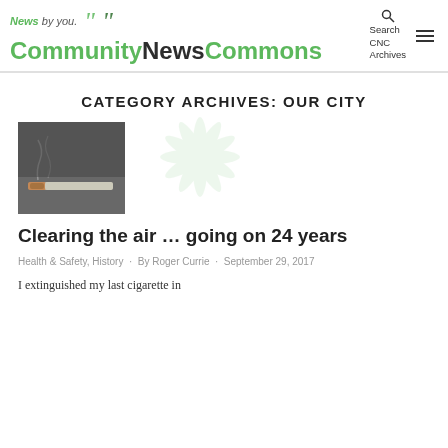News by you. CommunityNewsCommons | Search CNC Archives
CATEGORY ARCHIVES: OUR CITY
[Figure (photo): Thumbnail photo of a lit cigarette with smoke]
Clearing the air … going on 24 years
Health & Safety, History · By Roger Currie · September 29, 2017
I extinguished my last cigarette in